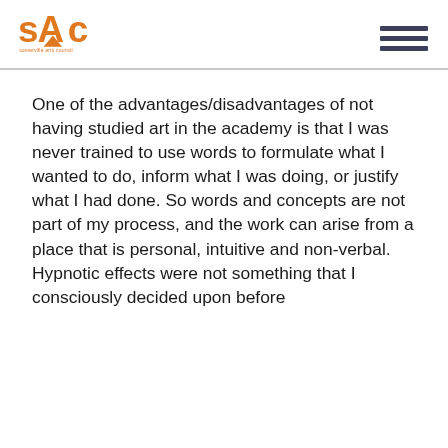[Figure (logo): Somerville Arts Council logo - orange stylized SAC letters above text 'somerville arts council']
One of the advantages/disadvantages of not having studied art in the academy is that I was never trained to use words to formulate what I wanted to do, inform what I was doing, or justify what I had done. So words and concepts are not part of my process, and the work can arise from a place that is personal, intuitive and non-verbal.  Hypnotic effects were not something that I consciously decided upon before